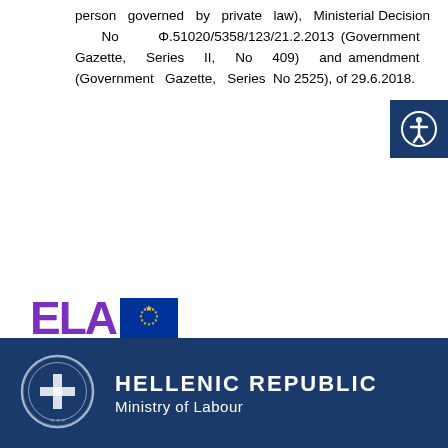person governed by private law), Ministerial Decision No Φ.51020/5358/123/21.2.2013 (Government Gazette, Series II, No 409) and amendment (Government Gazette, Series II, No 2525), of 29.6.2018.
[Figure (logo): ELA European Labour Authority logo with purple ELA text and EU flag, with caption 'Translated with the support of the European Labour Authority']
[Figure (logo): Hellenic Republic Ministry of Labour footer with dark blue background, Greek state emblem, and white text reading HELLENIC REPUBLIC Ministry of Labour]